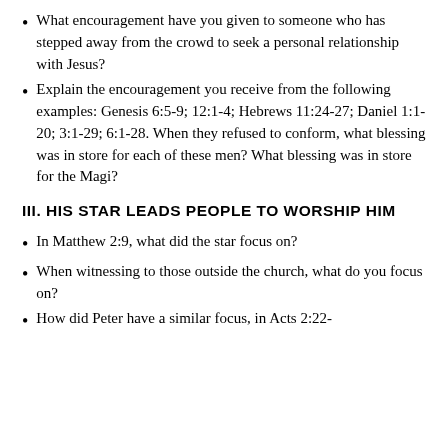What encouragement have you given to someone who has stepped away from the crowd to seek a personal relationship with Jesus?
Explain the encouragement you receive from the following examples: Genesis 6:5-9; 12:1-4; Hebrews 11:24-27; Daniel 1:1-20; 3:1-29; 6:1-28. When they refused to conform, what blessing was in store for each of these men? What blessing was in store for the Magi?
III. HIS STAR LEADS PEOPLE TO WORSHIP HIM
In Matthew 2:9, what did the star focus on?
When witnessing to those outside the church, what do you focus on?
How did Peter have a similar focus, in Acts 2:22-